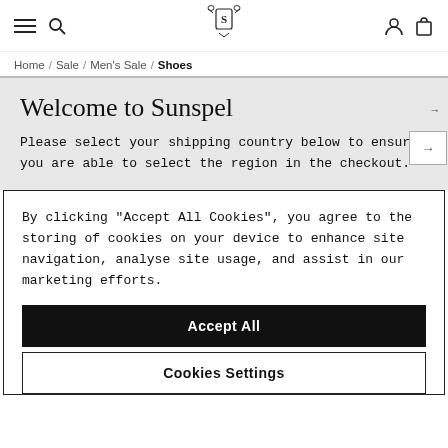Sunspel website header with hamburger menu, search, logo, account and cart icons
Home / Sale / Men's Sale / Shoes
Welcome to Sunspel
Please select your shipping country below to ensure you are able to select the region in the checkout.
By clicking "Accept All Cookies", you agree to the storing of cookies on your device to enhance site navigation, analyse site usage, and assist in our marketing efforts.
Accept All
Cookies Settings